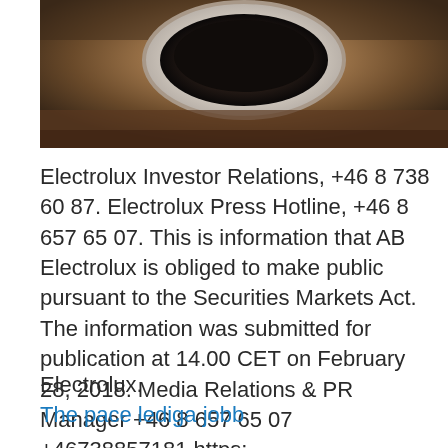[Figure (photo): Close-up photo of what appears to be a dark bowl or cup viewed from above on a wooden surface]
Electrolux Investor Relations, +46 8 738 60 87. Electrolux Press Hotline, +46 8 657 65 07. This is information that AB Electrolux is obliged to make public pursuant to the Securities Markets Act. The information was submitted for publication at 14.00 CET on February 28, 2018. Media Relations & PR Manager +46 8 657 65 07 +46738857181 https: asa.ohman@electrolux.com; Investors: Sophie Arnius.
Electrolux.
The pace lediga jobb